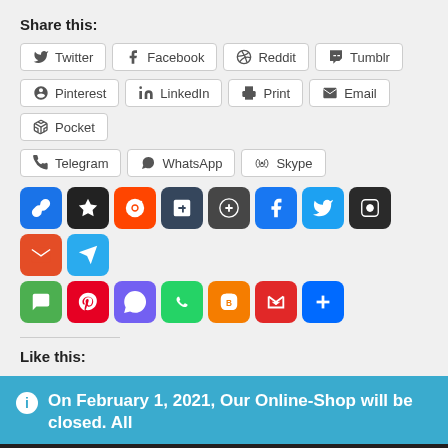Share this:
Twitter
Facebook
Reddit
Tumblr
Pinterest
LinkedIn
Print
Email
Pocket
Telegram
WhatsApp
Skype
[Figure (infographic): Two rows of social media share icon buttons with colored backgrounds: link, Digg, Reddit, Tumblr, WordPress, Facebook, Twitter, keyhole, email, Telegram (top row); SMS, Pinterest, Viber, WhatsApp, Blogger, Flipboard, more/plus (bottom row)]
Like this:
On February 1, 2021, Our Online-Shop will be closed. All orders until January 31 will be delivered
Dismiss
We use cookies to ensure that we give you the best experience on our website. If you continue to use this site we will assume that you are happy with it.
Ok